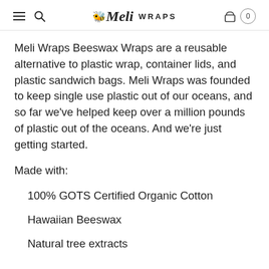Meli Wraps
Meli Wraps Beeswax Wraps are a reusable alternative to plastic wrap, container lids, and plastic sandwich bags. Meli Wraps was founded to keep single use plastic out of our oceans, and so far we've helped keep over a million pounds of plastic out of the oceans. And we're just getting started.
Made with:
100% GOTS Certified Organic Cotton
Hawaiian Beeswax
Natural tree extracts